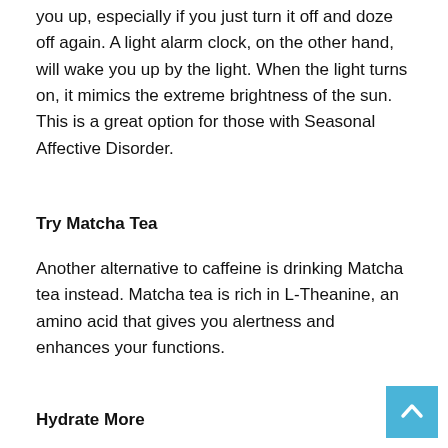you up, especially if you just turn it off and doze off again. A light alarm clock, on the other hand, will wake you up by the light. When the light turns on, it mimics the extreme brightness of the sun. This is a great option for those with Seasonal Affective Disorder.
Try Matcha Tea
Another alternative to caffeine is drinking Matcha tea instead. Matcha tea is rich in L-Theanine, an amino acid that gives you alertness and enhances your functions.
Hydrate More